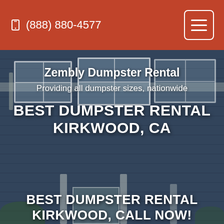(888) 880-4577
[Figure (photo): Dark-tinted photograph of a residential house with gray siding, white-trimmed windows, a front porch with white columns, and green foliage. Used as a hero background image.]
Zembly Dumpster Rental
Providing all dumpster sizes, nationwide
BEST DUMPSTER RENTAL KIRKWOOD, CA
BEST DUMPSTER RENTAL KIRKWOOD, CALL NOW!